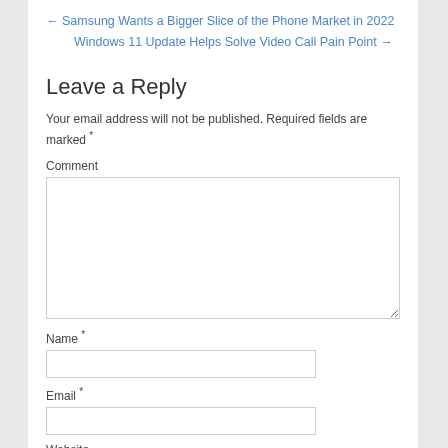← Samsung Wants a Bigger Slice of the Phone Market in 2022
Windows 11 Update Helps Solve Video Call Pain Point →
Leave a Reply
Your email address will not be published. Required fields are marked *
Comment
Name *
Email *
Website